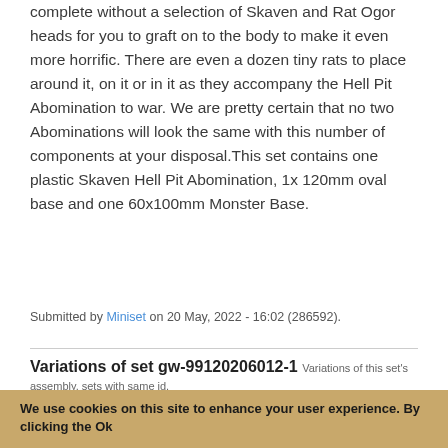complete without a selection of Skaven and Rat Ogor heads for you to graft on to the body to make it even more horrific. There are even a dozen tiny rats to place around it, on it or in it as they accompany the Hell Pit Abomination to war. We are pretty certain that no two Abominations will look the same with this number of components at your disposal.This set contains one plastic Skaven Hell Pit Abomination, 1x 120mm oval base and one 60x100mm Monster Base.
Submitted by Miniset on 20 May, 2022 - 16:02 (286592).
Variations of set gw-99120206012-1 Variations of this set's assembly, sets with same id.
[Figure (illustration): Thumbnail image of a miniature set showing a small rat-like figure]
We use cookies on this site to enhance your user experience. By clicking the Ok button you accept our cookie policy.